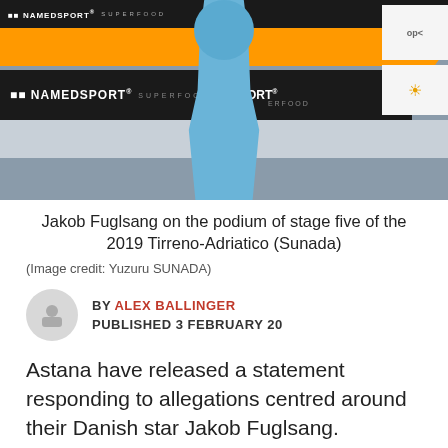[Figure (photo): Photo of cyclist Jakob Fuglsang on the podium at the 2019 Tirreno-Adriatico, wearing Astana team kit, with NAMEDSPORT SUPERFOOD sponsor banners in orange and black.]
Jakob Fuglsang on the podium of stage five of the 2019 Tirreno-Adriatico (Sunada)
(Image credit: Yuzuru SUNADA)
BY ALEX BALLINGER
PUBLISHED 3 FEBRUARY 20
Astana have released a statement responding to allegations centred around their Danish star Jakob Fuglsang.